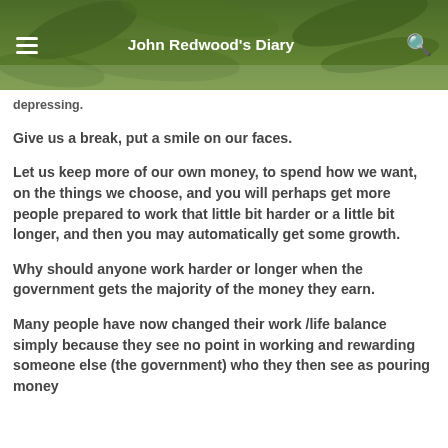John Redwood's Diary
depressing.
Give us a break, put a smile on our faces.
Let us keep more of our own money, to spend how we want, on the things we choose, and you will perhaps get more people prepared to work that little bit harder or a little bit longer, and then you may automatically get some growth.
Why should anyone work harder or longer when the government gets the majority of the money they earn.
Many people have now changed their work /life balance simply because they see no point in working and rewarding someone else (the government) who they then see as pouring money